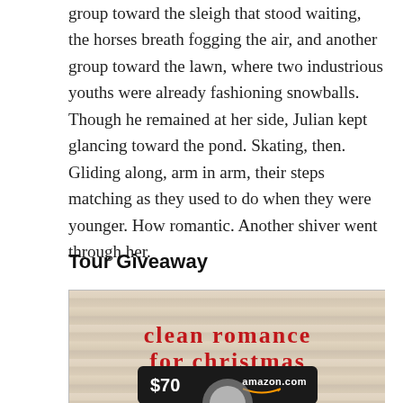group toward the sleigh that stood waiting, the horses breath fogging the air, and another group toward the lawn, where two industrious youths were already fashioning snowballs. Though he remained at her side, Julian kept glancing toward the pond. Skating, then. Gliding along, arm in arm, their steps matching as they used to do when they were younger. How romantic. Another shiver went through her.
Tour Giveaway
[Figure (illustration): Giveaway image for 'clean romance for christmas' book tour with a wood-grain background showing red serif text 'clean romance for christmas' and an Amazon.com $70 gift card partially visible at the bottom.]